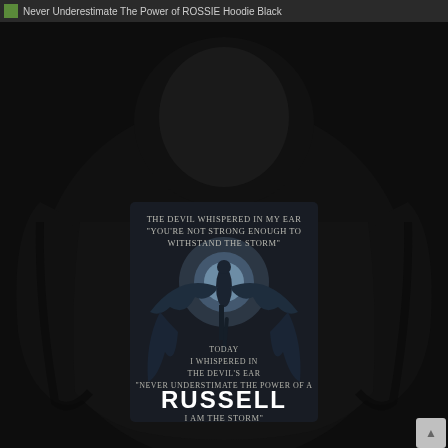Never Underestimate The Power of ROSSIE Hoodie Black
[Figure (photo): Product photo of a black hoodie showing the back of the garment. The hoodie features a dark gothic design with a winged figure (angel/demon) standing with arms spread wide against a moonlit sky. Text on the hoodie reads: THE DEVIL WHISPERED IN MY EAR 'YOU'RE NOT STRONG ENOUGH TO WITHSTAND THE STORM' (upper area), and TODAY I WHISPERED IN THE DEVIL'S EAR 'NEVER UNDERSTIMATE THE POWER OF A RUSSELL I AM THE STORM' (lower area, with RUSSELL in large bold white letters).]